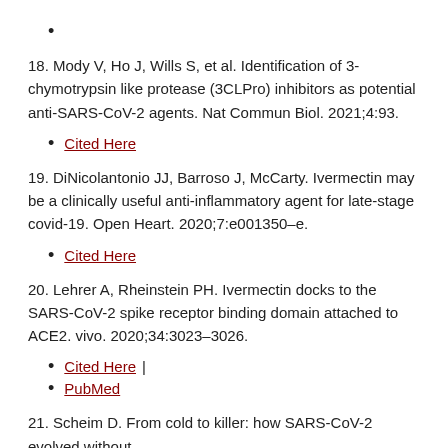•
18. Mody V, Ho J, Wills S, et al. Identification of 3-chymotrypsin like protease (3CLPro) inhibitors as potential anti-SARS-CoV-2 agents. Nat Commun Biol. 2021;4:93.
Cited Here
19. DiNicolantonio JJ, Barroso J, McCarty. Ivermectin may be a clinically useful anti-inflammatory agent for late-stage covid-19. Open Heart. 2020;7:e001350–e.
Cited Here
20. Lehrer A, Rheinstein PH. Ivermectin docks to the SARS-CoV-2 spike receptor binding domain attached to ACE2. vivo. 2020;34:3023–3026.
Cited Here |
PubMed
21. Scheim D. From cold to killer: how SARS-CoV-2 evolved without